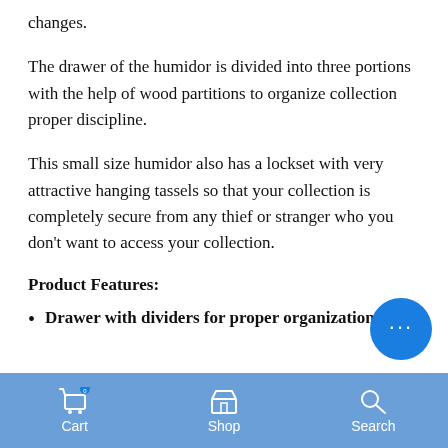changes.
The drawer of the humidor is divided into three portions with the help of wood partitions to organize collection proper discipline.
This small size humidor also has a lockset with very attractive hanging tassels so that your collection is completely secure from any thief or stranger who you don't want to access your collection.
Product Features:
Drawer with dividers for proper organization
Cart   Shop   Search